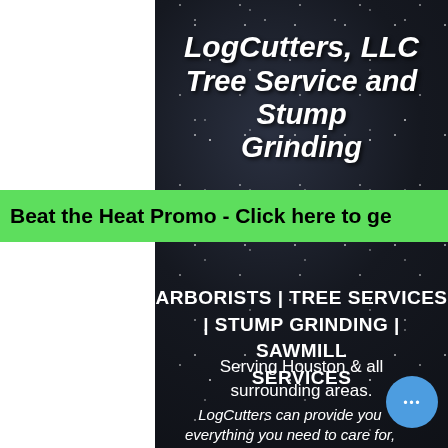LogCutters, LLC Tree Service and Stump Grinding
Beat the Heat Promo - Click here to ge
ARBORISTS | TREE SERVICES | STUMP GRINDING | SAWMILL SERVICES
Serving Houston & all surrounding areas.
LogCutters can provide you everything you need to care for,